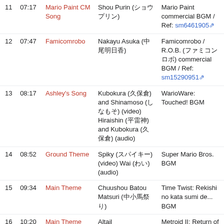| # | Time | Title | Performer | Notes |
| --- | --- | --- | --- | --- |
| 11 | 07:17 | Mario Paint CM Song | Shou Purin (ショウプリン) | Mario Paint commercial BGM / Ref: sm6461905 |
| 12 | 07:47 | Famicomrobo | Nakayu Asuka (中尾明日香) | Famicomrobo / R.O.B. (ファミコンロボ) commercial BGM / Ref: sm15290951 |
| 13 | 08:17 | Ashley's Song | Kubokura (久保倉) and Shinamoso (しなもそ) (video) Hiraishin (平雷神) and Kubokura (久保倉) (audio) | WarioWare: Touched! BGM |
| 14 | 08:52 | Ground Theme | Spiky (スパイキー) (video) Wai (わい) (audio) | Super Mario Bros. BGM |
| 15 | 09:34 | Main Theme | Chuushou Batou Matsuri (中小馬祭り) | Time Twist: Rekishi no kata sumi de... BGM |
| 16 | 10:20 | Main Theme | Altail | Metroid II: Return of Samus BGM |
| 17 | 10:37 | Vs. Metroid | Altail | Metroid II: Return of Samus BGM |
| 18 | 10:51 | Main Theme | Umezo (梅蔵) | Excitebike BGM |
| 19 | 11:11 | Ice Climber | Hiraishin (平雷神) | Ice Climber BGM |